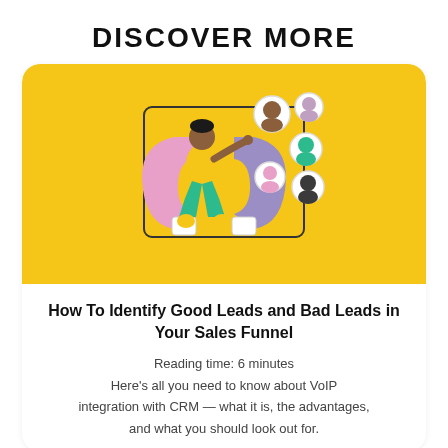DISCOVER MORE
[Figure (illustration): Illustration of a person sitting on a horseshoe magnet attracting circular avatar icons of various people, set against a yellow background, representing lead generation.]
How To Identify Good Leads and Bad Leads in Your Sales Funnel
Reading time: 6 minutes
Here's all you need to know about VoIP integration with CRM — what it is, the advantages, and what you should look out for.